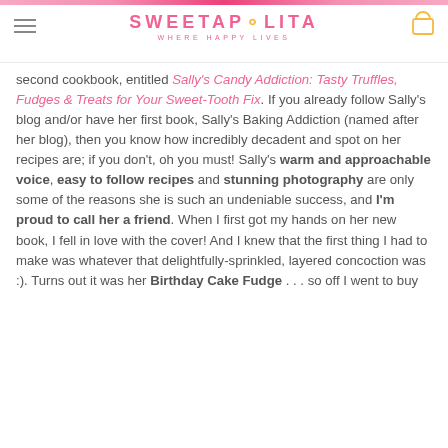SWEETAP⊙LITA WHERE HAPPY LIVES
second cookbook, entitled Sally’s Candy Addiction: Tasty Truffles, Fudges & Treats for Your Sweet-Tooth Fix. If you already follow Sally’s blog and/or have her first book, Sally’s Baking Addiction (named after her blog), then you know how incredibly decadent and spot on her recipes are; if you don’t, oh you must! Sally’s warm and approachable voice, easy to follow recipes and stunning photography are only some of the reasons she is such an undeniable success, and I’m proud to call her a friend. When I first got my hands on her new book, I fell in love with the cover! And I knew that the first thing I had to make was whatever that delightfully-sprinkled, layered concoction was :). Turns out it was her Birthday Cake Fudge ... so off I went to buy